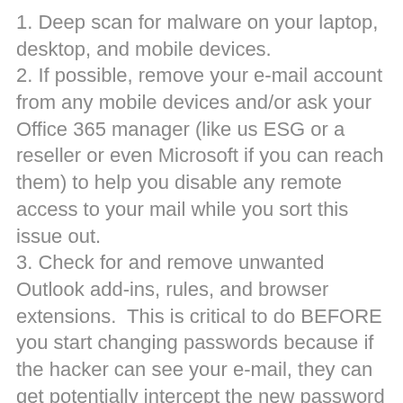1. Deep scan for malware on your laptop, desktop, and mobile devices.
2. If possible, remove your e-mail account from any mobile devices and/or ask your Office 365 manager (like us ESG or a reseller or even Microsoft if you can reach them) to help you disable any remote access to your mail while you sort this issue out.
3. Check for and remove unwanted Outlook add-ins, rules, and browser extensions.  This is critical to do BEFORE you start changing passwords because if the hacker can see your e-mail, they can get potentially intercept the new password reset requests you are making.
4. Reset all affected passwords – your Office 365 account, your Apple/google password, your banking/credit card